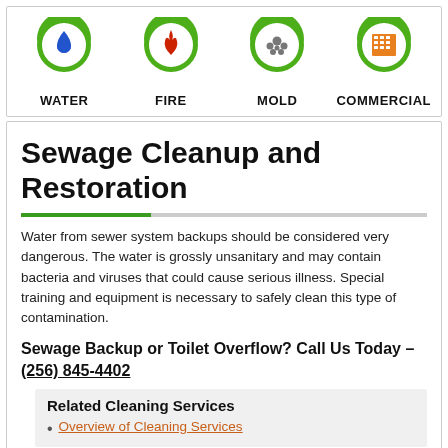[Figure (illustration): Four green map pin icons labeled WATER (blue water drop), FIRE (red flame), MOLD (grey mold spores), COMMERCIAL (orange building)]
Sewage Cleanup and Restoration
Water from sewer system backups should be considered very dangerous. The water is grossly unsanitary and may contain bacteria and viruses that could cause serious illness. Special training and equipment is necessary to safely clean this type of contamination.
Sewage Backup or Toilet Overflow? Call Us Today – (256) 845-4402
Related Cleaning Services
Overview of Cleaning Services